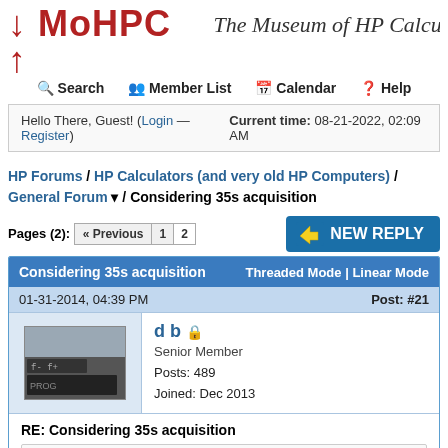MoHPC ↓↑ The Museum of HP Calcu…
Hello There, Guest! (Login — Register)   Current time: 08-21-2022, 02:09 AM
HP Forums / HP Calculators (and very old HP Computers) / General Forum ▼ / Considering 35s acquisition
Pages (2): « Previous 1 2  NEW REPLY
Considering 35s acquisition  Threaded Mode | Linear Mode
01-31-2014, 04:39 PM  Post: #21
d b  Senior Member  Posts: 489  Joined: Dec 2013
RE: Considering 35s acquisition
Tugdual Wrote: ➡  (01-31-2014 04:00 PM)
Oh well, I guess I'll stick on my 15C LE.
Not the worst plan you could have. You're used to it. I do wish